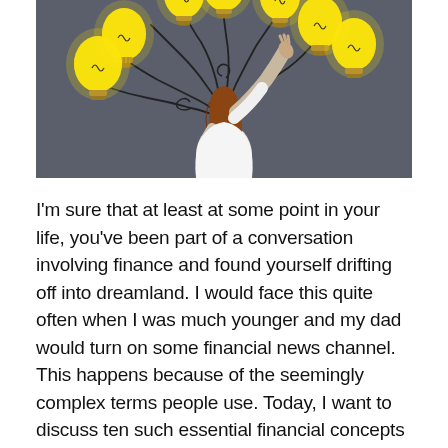[Figure (photo): A woman with long brown hair reaching up with one arm toward several glowing yellow light bulbs drawn on a dark grey chalkboard wall, with curling wire lines connecting them.]
I'm sure that at least at some point in your life, you've been part of a conversation involving finance and found yourself drifting off into dreamland. I would face this quite often when I was much younger and my dad would turn on some financial news channel. This happens because of the seemingly complex terms people use. Today, I want to discuss ten such essential financial concepts with you.